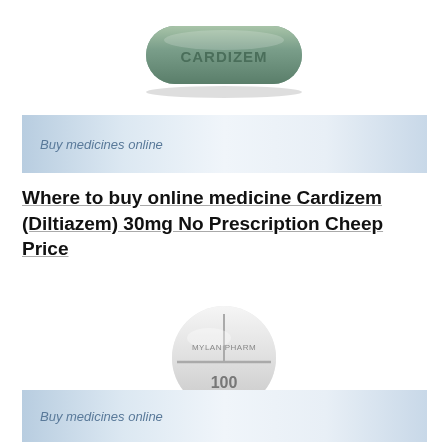[Figure (photo): Green oval/capsule-shaped tablet with 'CARDIZEM' embossed on it, shown on white background]
Buy medicines online
Where to buy online medicine Cardizem (Diltiazem) 30mg No Prescription Cheep Price
[Figure (photo): Round white tablet with score line, '100' embossed on it, shown on white background]
Buy medicines online